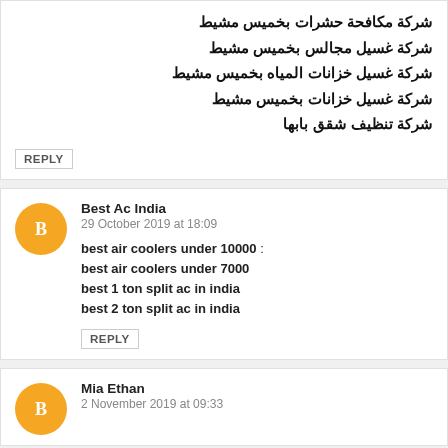شركة مكافحة حشرات بخميس مشيط
شركة غسيل مجالس بخميس مشيط
شركة غسيل خزانات المياه بخميس مشيط
شركة غسيل خزانات بخميس مشيط
شركة تنظيف شقق بابها
REPLY
Best Ac India
29 October 2019 at 18:09
best air coolers under 10000 :
best air coolers under 7000
best 1 ton split ac in india
best 2 ton split ac in india
REPLY
Mia Ethan
2 November 2019 at 09:33